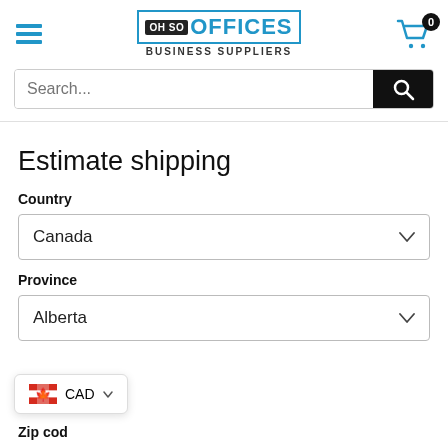[Figure (logo): Oh So Offices Business Suppliers logo with hamburger menu and cart icon]
Search...
Estimate shipping
Country
Canada
Province
Alberta
CAD